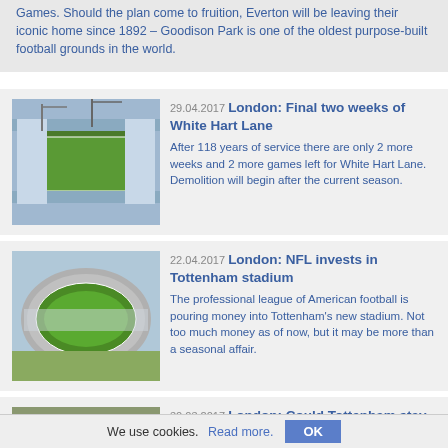Games. Should the plan come to fruition, Everton will be leaving their iconic home since 1892 – Goodison Park is one of the oldest purpose-built football grounds in the world.
[Figure (photo): Aerial view of White Hart Lane stadium under construction/renovation]
29.04.2017 London: Final two weeks of White Hart Lane — After 118 years of service there are only 2 more weeks and 2 more games left for White Hart Lane. Demolition will begin after the current season.
[Figure (photo): Aerial view of Tottenham's new stadium]
22.04.2017 London: NFL invests in Tottenham stadium — The professional league of American football is pouring money into Tottenham's new stadium. Not too much money as of now, but it may be more than a seasonal affair.
[Figure (photo): Aerial view of White Hart Lane entrance with THFC signage]
30.03.2017 London: Could Tottenham stay at White Hart Lane one more season?
We use cookies. Read more. OK